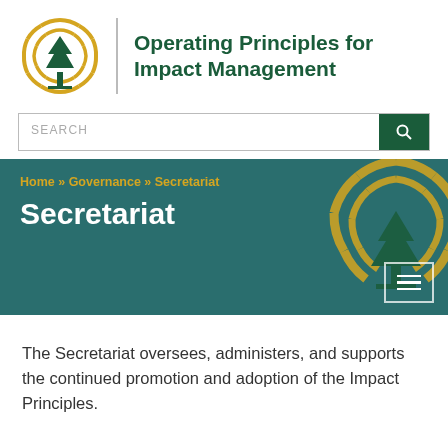[Figure (logo): Operating Principles for Impact Management logo — green tree with yellow sunburst, vertical divider, bold green text]
Operating Principles for Impact Management
[Figure (other): Search bar with SEARCH placeholder text and dark green search button with magnifying glass icon]
[Figure (other): Dark teal hero banner with breadcrumb navigation 'Home >> Governance >> Secretariat', large white title 'Secretariat', watermark logo in corner, hamburger menu icon]
The Secretariat oversees, administers, and supports the continued promotion and adoption of the Impact Principles.